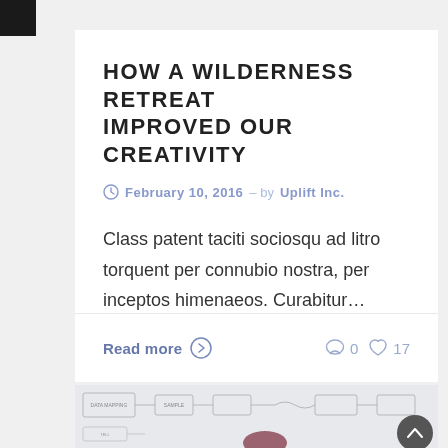HOW A WILDERNESS RETREAT IMPROVED OUR CREATIVITY
February 10, 2016 – by Uplift Inc.
Class patent taciti sociosqu ad litro torquent per connubio nostra, per inceptos himenaeos. Curabitur…
Read more  0  17
[Figure (photo): Flowchart diagram sketched on paper with sticky notes, person wearing dark red beanie visible at bottom]